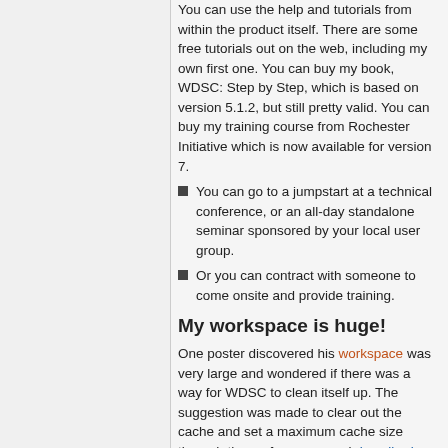You can use the help and tutorials from within the product itself. There are some free tutorials out on the web, including my own first one. You can buy my book, WDSC: Step by Step, which is based on version 5.1.2, but still pretty valid. You can buy my training course from Rochester Initiative which is now available for version 7.
You can go to a jumpstart at a technical conference, or an all-day standalone seminar sponsored by your local user group.
Or you can contract with someone to come onsite and provide training.
My workspace is huge!
One poster discovered his workspace was very large and wondered if there was a way for WDSC to clean itself up. The suggestion was made to clear out the cache and set a maximum cache size through the preference panel described here.
#top